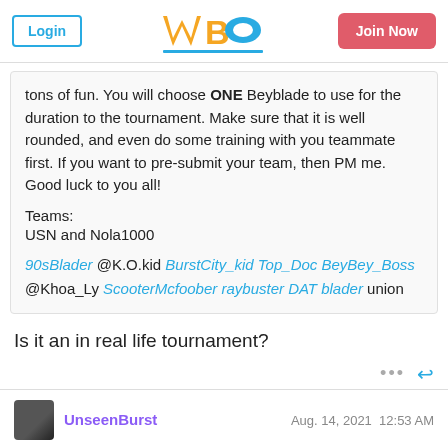Login | WBO Logo | Join Now
tons of fun. You will choose ONE Beyblade to use for the duration to the tournament. Make sure that it is well rounded, and even do some training with you teammate first. If you want to pre-submit your team, then PM me. Good luck to you all!

Teams:
USN and Nola1000

90sBlader @K.O.kid BurstCity_kid Top_Doc BeyBey_Boss @Khoa_Ly ScooterMcfoober raybuster DAT blader union
Is it an in real life tournament?
UnseenBurst  Aug. 14, 2021  12:53 AM